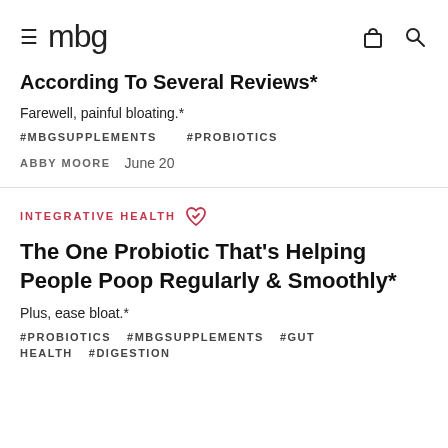mbg
According To Several Reviews*
Farewell, painful bloating.*
#MBGSUPPLEMENTS   #PROBIOTICS
ABBY MOORE   June 20
INTEGRATIVE HEALTH
The One Probiotic That's Helping People Poop Regularly & Smoothly*
Plus, ease bloat.*
#PROBIOTICS   #MBGSUPPLEMENTS   #GUT HEALTH   #DIGESTION